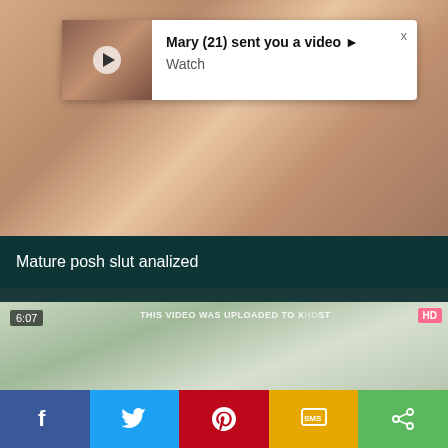[Figure (screenshot): Video thumbnail showing adult content]
Mary (21) sent you a video ▶ Watch
Mature posh slut analized
[Figure (screenshot): Second video thumbnail, 6:07 duration, HD badge, text: THIS VIDEO WAS UPLOADED TO X...]
6:07
THIS VIDEO WAS UPLOADED TO X...
HD
[Figure (infographic): Social share bar with Facebook, Twitter, Pinterest, SMS, Share buttons]